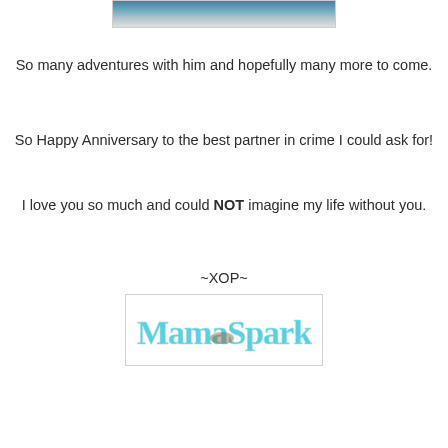[Figure (photo): Partial photo visible at the top of the page, appears to be a cropped image of people outdoors]
So many adventures with him and hopefully many more to come.
So Happy Anniversary to the best partner in crime I could ask for!
I love you so much and could NOT imagine my life without you.
~XOP~
[Figure (logo): MamaSpark logo in teal/turquoise cursive lettering inside a white bordered rectangle]